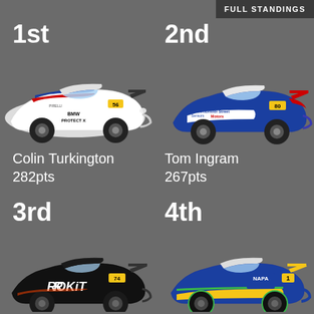FULL STANDINGS
1st
2nd
[Figure (illustration): BMW Protect X racing car in white with red and blue livery, number 56, facing right]
[Figure (illustration): Bristol Street Motors racing car in blue and white livery, number 80, facing right]
Colin Turkington 282pts
Tom Ingram 267pts
3rd
4th
[Figure (illustration): ROKiT racing car in black livery, number 74, facing right]
[Figure (illustration): NAPA racing car in blue and yellow livery, number 1, facing right]